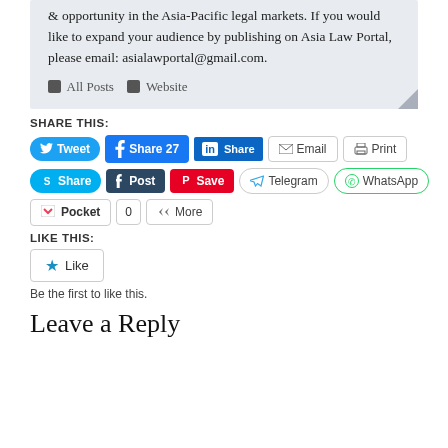& opportunity in the Asia-Pacific legal markets. If you would like to expand your audience by publishing on Asia Law Portal, please email: asialawportal@gmail.com.
All Posts  Website
SHARE THIS:
Tweet  Share 27  Share  Email  Print  Share  Post  Save  Telegram  WhatsApp  Pocket  0  More
LIKE THIS:
Like
Be the first to like this.
Leave a Reply